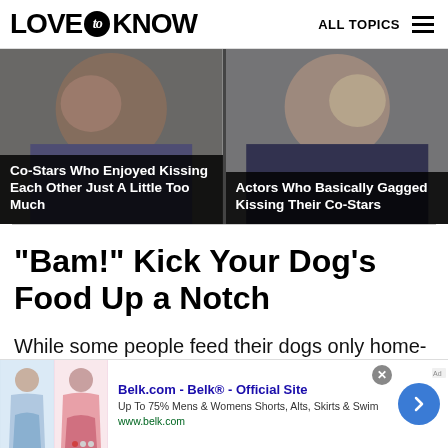LOVE to KNOW — ALL TOPICS
[Figure (photo): Two side-by-side entertainment article cards with celebrity close-up photos and dark overlay text. Left card: 'Co-Stars Who Enjoyed Kissing Each Other Just A Little Too Much'. Right card: 'Actors Who Basically Gagged Kissing Their Co-Stars'.]
"Bam!" Kick Your Dog's Food Up a Notch
While some people feed their dogs only home-
[Figure (screenshot): Advertisement banner for Belk.com - Belk® Official Site. 'Up To 75% Mens & Womens Shorts, Alts, Skirts & Swim'. URL: www.belk.com. Shows two clothing/skirt images on left, blue arrow button on right.]